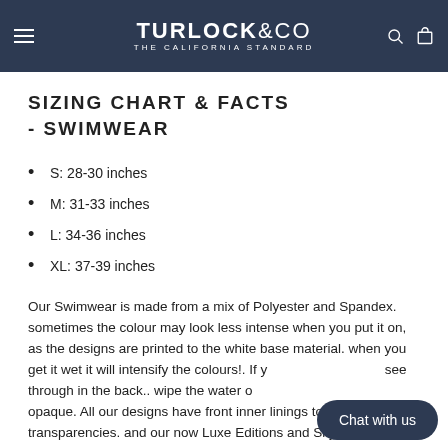TURLOCK & CO — THE CALIFORNIA STANDARD
SIZING CHART & FACTS - SWIMWEAR
S:  28-30 inches
M:  31-33 inches
L:  34-36 inches
XL: 37-39 inches
Our Swimwear is made from a mix of Polyester and Spandex. sometimes the colour may look less intense when you put it on, as the designs are printed to the white base material. when you get it wet it will intensify the colours!.  If you notice it's a little see through in the back.. wipe the water off and it will become opaque.  All our designs have front inner linings to stop transparencies. and our now Luxe Editions and Sky Blue